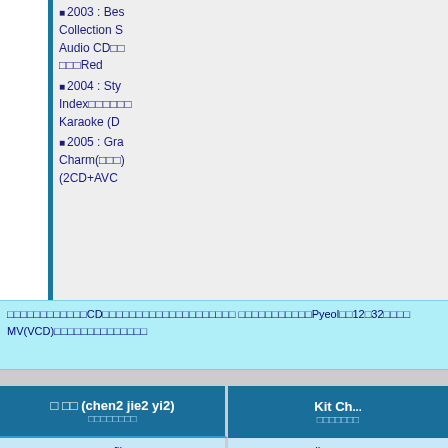■2003 : Best Collection S Audio CD□□ □□□Red
■2004 : Sty Index□□□□□□ Karaoke (D
■2005 : Gra Charm(□□□) (2CD+AVC
□□□□□□□□□□□□CD□□□□□□□□□□□□□□□□□□□□ □□□□□□□□□□□Pyeol□□12□32□□□□□ MV(VCD)□□□□□□□□□□□□□□
| □ □□ (chen2 jie2 yi2) □□□□□□□□ | Kit Ch... □□□□□□□ |
| --- | --- |
| profile | discogra... |
| ■1972/09/15□
■□□□□□□□□□□
■164cm, 50kg, B□ | ■1993□□□□□□
■1994□□□
■1995□□□□□
■1996□□□□□□
□]□□□□ |